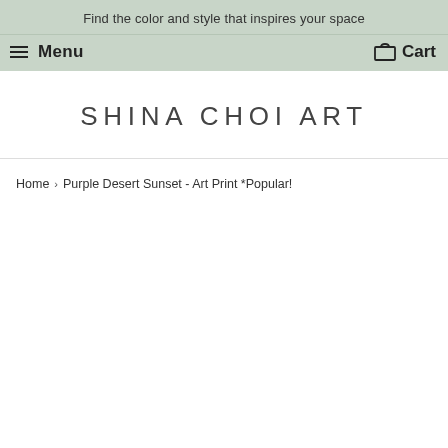Find the color and style that inspires your space
Menu  Cart
[Figure (logo): Shina Choi Art logo in uppercase spaced letters]
Home › Purple Desert Sunset - Art Print *Popular!